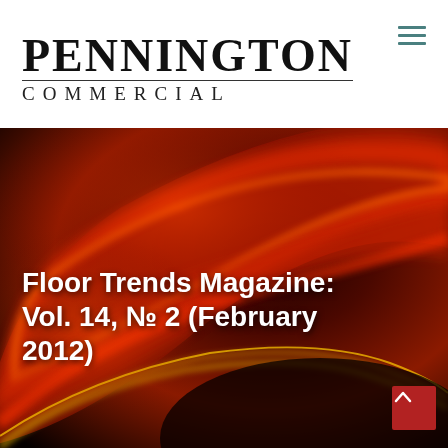[Figure (logo): Pennington Commercial logo with large serif PENNINGTON text above and spaced COMMERCIAL text below with a horizontal rule]
[Figure (photo): Abstract dark background with swirling red, orange, and gold light streaks, used as hero banner background]
Floor Trends Magazine: Vol. 14, No 2 (February 2012)